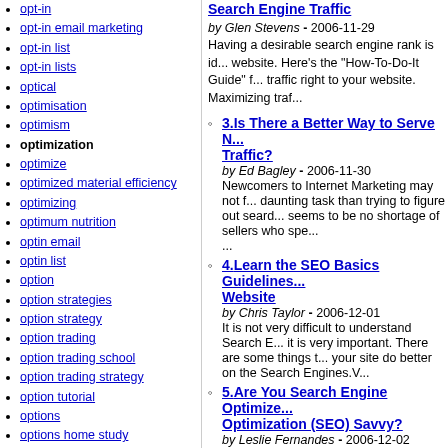opt-in
opt-in email marketing
opt-in list
opt-in lists
optical
optimisation
optimism
optimization
optimize
optimized material efficiency
optimizing
optimum nutrition
optin email
optin list
option
option strategies
option strategy
option trading
option trading school
option trading strategy
option tutorial
options
options home study
options trading
options trading school
options trading strategies
or
orac
Search Engine Traffic - by Glen Stevens - 2006-11-29 - Having a desirable search engine rank is id... website. Here's the "How-To-Do-It Guide" f... traffic right to your website. Maximizing traf...
3. Is There a Better Way to Serve N... Traffic? - by Ed Bagley - 2006-11-30 - Newcomers to Internet Marketing may not f... daunting task than trying to figure out sear... seems to be no shortage of sellers who spe... ...
4. Learn the SEO Basics Guidelines... Website - by Chris Taylor - 2006-12-01 - It is not very difficult to understand Search E... it is very important. There are some things t... your site do better on the Search Engines.V...
5. Are You Search Engine Optimize... Optimization (SEO) Savvy? - by Leslie Fernandes - 2006-12-02 - Mumbai, Maharashtra, India, November 21... announced a Special New Year 2007 Corpo... you SEO Savvy. Do you think it important...